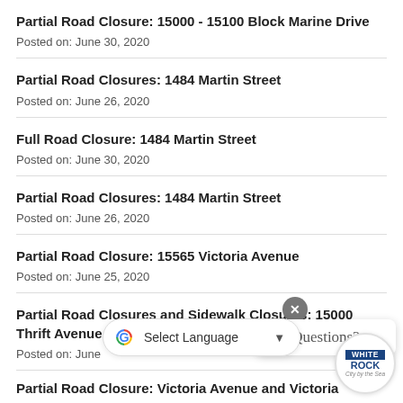Partial Road Closure: 15000 - 15100 Block Marine Drive
Posted on: June 30, 2020
Partial Road Closures: 1484 Martin Street
Posted on: June 26, 2020
Full Road Closure: 1484 Martin Street
Posted on: June 30, 2020
Partial Road Closures: 1484 Martin Street
Posted on: June 26, 2020
Partial Road Closure: 15565 Victoria Avenue
Posted on: June 25, 2020
Partial Road Closures and Sidewalk Closures: 15000 Thrift Avenue
Posted on: June 30, 2020
Partial Road Closure: Victoria Avenue and Victoria